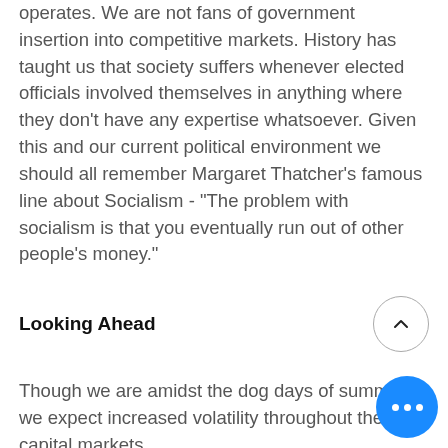operates. We are not fans of government insertion into competitive markets. History has taught us that society suffers whenever elected officials involved themselves in anything where they don't have any expertise whatsoever. Given this and our current political environment we should all remember Margaret Thatcher's famous line about Socialism - "The problem with socialism is that you eventually run out of other people's money."
Looking Ahead
Though we are amidst the dog days of summer, we expect increased volatility throughout the capital markets.